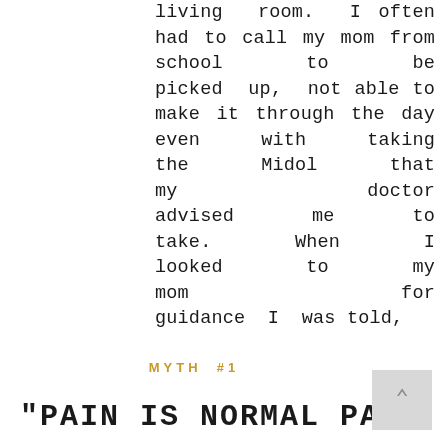living room. I often had to call my mom from school to be picked up, not able to make it through the day even with taking the Midol that my doctor advised me to take. When I looked to my mom for guidance I was told,
MYTH #1
"PAIN IS NORMAL PART...